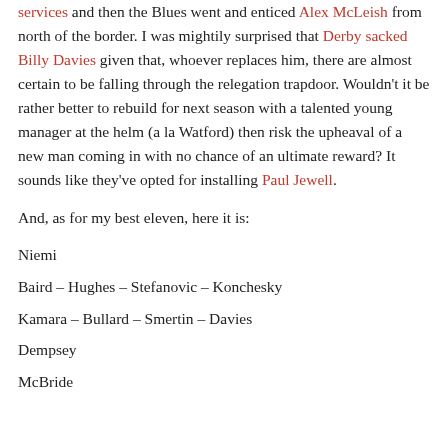services and then the Blues went and enticed Alex McLeish from north of the border. I was mightily surprised that Derby sacked Billy Davies given that, whoever replaces him, there are almost certain to be falling through the relegation trapdoor. Wouldn't it be rather better to rebuild for next season with a talented young manager at the helm (a la Watford) then risk the upheaval of a new man coming in with no chance of an ultimate reward? It sounds like they've opted for installing Paul Jewell.
And, as for my best eleven, here it is:
Niemi
Baird – Hughes – Stefanovic – Konchesky
Kamara – Bullard – Smertin – Davies
Dempsey
McBride